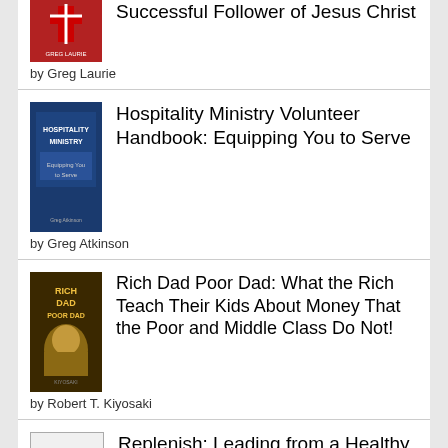[Figure (illustration): Book cover: Successful Follower of Jesus Christ by Greg Laurie - red cover with cross]
Successful Follower of Jesus Christ
by Greg Laurie
[Figure (illustration): Book cover: Hospitality Ministry Volunteer Handbook: Equipping You to Serve - dark blue cover]
Hospitality Ministry Volunteer Handbook: Equipping You to Serve
by Greg Atkinson
[Figure (illustration): Book cover: Rich Dad Poor Dad - dark background with author photo]
Rich Dad Poor Dad: What the Rich Teach Their Kids About Money That the Poor and Middle Class Do Not!
by Robert T. Kiyosaki
[Figure (illustration): Book cover: Replenish: Leading from a Healthy Soul - white/grey cover with vertical text]
Replenish: Leading from a Healthy Soul
by Lance Witt